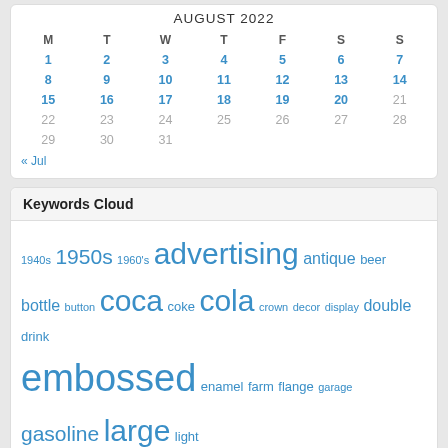AUGUST 2022
| M | T | W | T | F | S | S |
| --- | --- | --- | --- | --- | --- | --- |
| 1 | 2 | 3 | 4 | 5 | 6 | 7 |
| 8 | 9 | 10 | 11 | 12 | 13 | 14 |
| 15 | 16 | 17 | 18 | 19 | 20 | 21 |
| 22 | 23 | 24 | 25 | 26 | 27 | 28 |
| 29 | 30 | 31 |  |  |  |  |
« Jul
Keywords Cloud
1940s 1950s 1960's advertising antique beer bottle button coca coke cola crown decor display double drink embossed enamel farm flange garage gasoline large light metal motor orange original pepsi plate porcelain sign